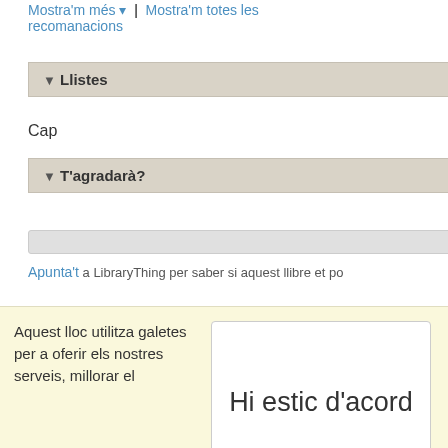Mostra'm més ▾ | Mostra'm totes les recomanacions
▼ Llistes
Cap
▼ T'agradarà?
Apunta't a LibraryThing per saber si aquest llibre et po
Aquest lloc utilitza galetes per a oferir els nostres serveis, millorar el
Hi estic d'acord
desenvolupament, per a anàlisis i (si no has iniciat la sessió) per a publicitat. Utilitzant LibraryThing acceptes que has llegit i entès els nostres Termes de servei i política de privacitat. L'ús que facis del lloc i dels seus serveis està subjecte a aquestes polítiques i termes.